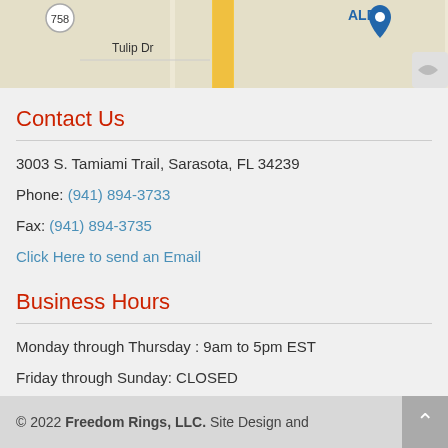[Figure (map): Partial Google Maps view showing street map with Tulip Dr label, ALDI store marker, route 758 marker, and a yellow road/route highlighted.]
Contact Us
3003 S. Tamiami Trail, Sarasota, FL 34239
Phone: (941) 894-3733
Fax: (941) 894-3735
Click Here to send an Email
Business Hours
Monday through Thursday : 9am to 5pm EST
Friday through Sunday: CLOSED
© 2022 Freedom Rings, LLC. Site Design and